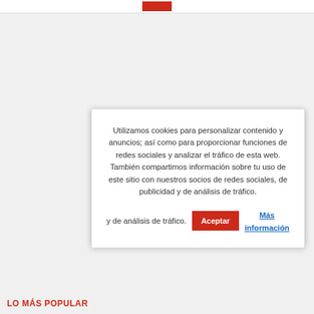Utilizamos cookies para personalizar contenido y anuncios; así como para proporcionar funciones de redes sociales y analizar el tráfico de esta web. También compartimos información sobre tu uso de este sitio con nuestros socios de redes sociales, de publicidad y de análisis de tráfico.
Aceptar   Más información
LO MÁS POPULAR